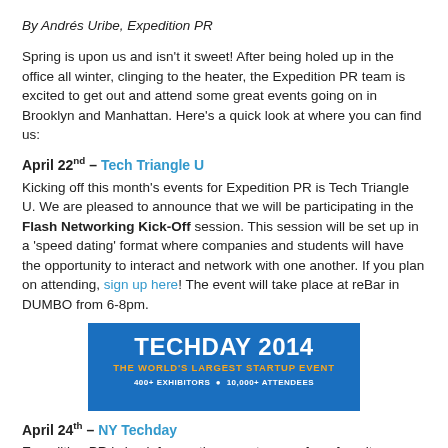By Andrés Uribe, Expedition PR
Spring is upon us and isn't it sweet! After being holed up in the office all winter, clinging to the heater, the Expedition PR team is excited to get out and attend some great events going on in Brooklyn and Manhattan. Here's a quick look at where you can find us:
April 22nd – Tech Triangle U
Kicking off this month's events for Expedition PR is Tech Triangle U. We are pleased to announce that we will be participating in the Flash Networking Kick-Off session. This session will be set up in a 'speed dating' format where companies and students will have the opportunity to interact and network with one another. If you plan on attending, sign up here! The event will take place at reBar in DUMBO from 6-8pm.
[Figure (other): TechDay 2014 banner - The World's Largest Startup Event. 400+ Exhibitors • 10,000+ Attendees. Blue background with white and orange text.]
April 24th – NY Techday
Expedition PR is back for another year to one of our favorite events, NY Techday! Once again taking place at Pier 92 in Manhattan, NY